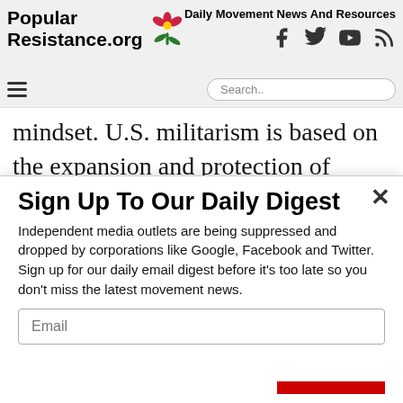Popular Resistance.org — Daily Movement News And Resources
mindset. U.S. militarism is based on the expansion and protection of corporate profits, fostering a culture of white supremacy, and is set into practice
Sign Up To Our Daily Digest
Independent media outlets are being suppressed and dropped by corporations like Google, Facebook and Twitter. Sign up for our daily email digest before it's too late so you don't miss the latest movement news.
Social share bar: Facebook, Twitter, Email, Print, Messenger